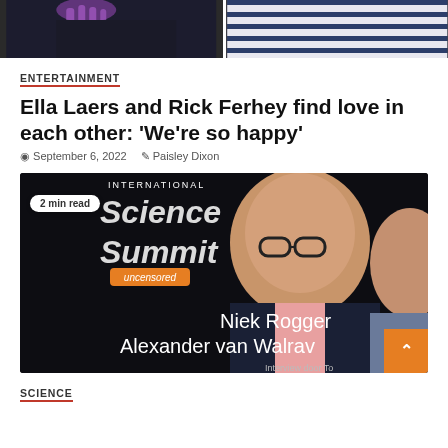[Figure (photo): Two cropped photos side by side at the top of the page, showing partial torsos — left appears to be a person in a dark dress, right shows a person in a blue and white striped shirt.]
ENTERTAINMENT
Ella Laers and Rick Ferhey find love in each other: ‘We’re so happy’
September 6, 2022  Paisley Dixon
[Figure (photo): Video thumbnail for International Science Summit uncensored, showing two men — text overlaid reads: INTERNATIONAL Science Summit uncensored, Niek Rogger, Alexander van Walrav, Interview door To. A '2 min read' badge is overlaid top-left, and an orange scroll-to-top button is at bottom right.]
SCIENCE